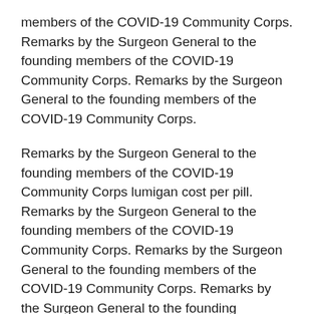members of the COVID-19 Community Corps. Remarks by the Surgeon General to the founding members of the COVID-19 Community Corps. Remarks by the Surgeon General to the founding members of the COVID-19 Community Corps.
Remarks by the Surgeon General to the founding members of the COVID-19 Community Corps lumigan cost per pill. Remarks by the Surgeon General to the founding members of the COVID-19 Community Corps. Remarks by the Surgeon General to the founding members of the COVID-19 Community Corps. Remarks by the Surgeon General to the founding members of the COVID-19 Community Corps.
Remarks by the Surgeon General to the founding members of the COVID-19 Community Corps lumigan cost per pill. Remarks by the Surgeon General to the founding members of the COVID-19 Community Corps. Remarks by